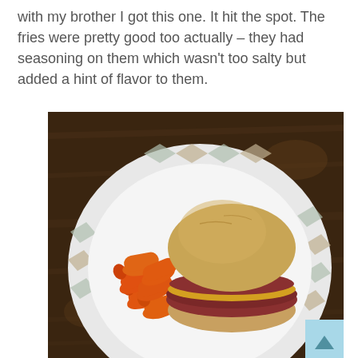with my brother I got this one. It hit the spot. The fries were pretty good too actually – they had seasoning on them which wasn't too salty but added a hint of flavor to them.
[Figure (photo): A plate with a sandwich (ham and cheese on a round roll) and baby carrots, on a decorative plate with diamond pattern, placed on a wooden table. A light blue scroll-to-top button is visible in the bottom right.]